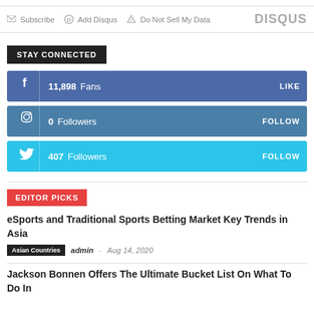Subscribe  Add Disqus  Do Not Sell My Data  DISQUS
STAY CONNECTED
f  11,898  Fans  LIKE
Instagram icon  0  Followers  FOLLOW
Twitter icon  407  Followers  FOLLOW
EDITOR PICKS
eSports and Traditional Sports Betting Market Key Trends in Asia
Asian Countries  admin  -  Aug 14, 2020
Jackson Bonnen Offers The Ultimate Bucket List On What To Do In